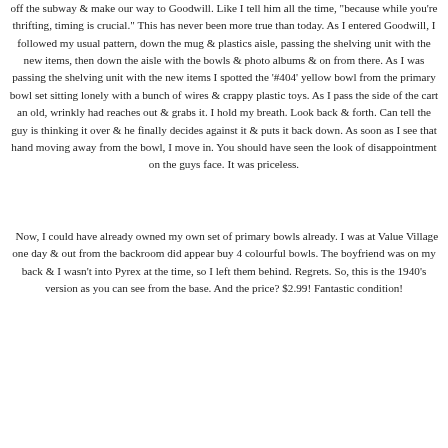off the subway & make our way to Goodwill. Like I tell him all the time, "because while you're thrifting, timing is crucial." This has never been more true than today. As I entered Goodwill, I followed my usual pattern, down the mug & plastics aisle, passing the shelving unit with the new items, then down the aisle with the bowls & photo albums & on from there. As I was passing the shelving unit with the new items I spotted the '#404' yellow bowl from the primary bowl set sitting lonely with a bunch of wires & crappy plastic toys. As I pass the side of the cart an old, wrinkly had reaches out & grabs it. I hold my breath. Look back & forth. Can tell the guy is thinking it over & he finally decides against it & puts it back down. As soon as I see that hand moving away from the bowl, I move in. You should have seen the look of disappointment on the guys face. It was priceless.
Now, I could have already owned my own set of primary bowls already. I was at Value Village one day & out from the backroom did appear buy 4 colourful bowls. The boyfriend was on my back & I wasn't into Pyrex at the time, so I left them behind. Regrets. So, this is the 1940's version as you can see from the base. And the price? $2.99! Fantastic condition!